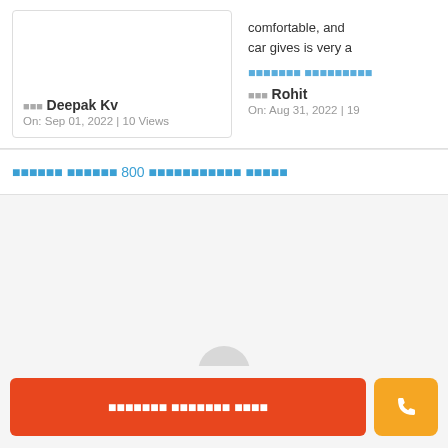■■■ Deepak Kv
On: Sep 01, 2022 | 10 Views
comfortable, and
car gives is very a
■■■■■■■ ■■■■■■■■■
■■■ Rohit
On: Aug 31, 2022 | 19...
■■■■■■ ■■■■■■ 800 ■■■■■■■■■■■ ■■■■■
■■■■■■■ ■■■■■■■ ■■■■